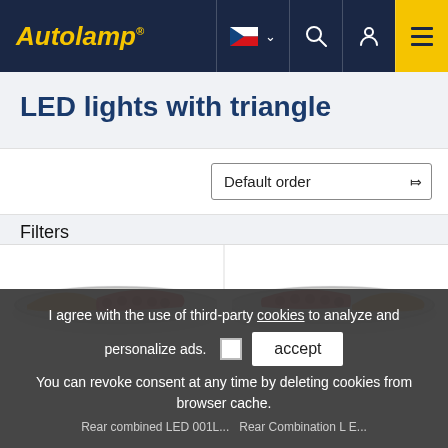Autolamp® [navigation header with Czech flag, search, user, and menu icons]
LED lights with triangle
Default order
Filters
[Figure (photo): Two LED triangle lights shown side by side in a product grid]
I agree with the use of third-party cookies to analyze and personalize ads. [checkbox] accept
You can revoke consent at any time by deleting cookies from browser cache.
Rear combined LED 001L... Rear Combination L E...